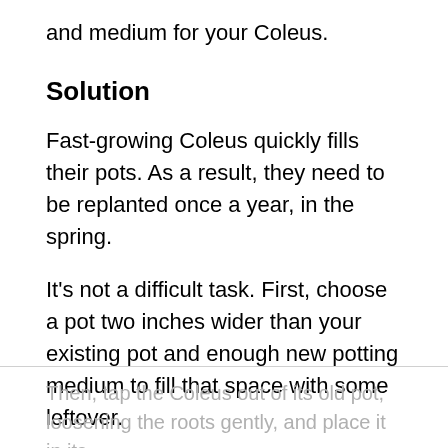and medium for your Coleus.
Solution
Fast-growing Coleus quickly fills their pots. As a result, they need to be replanted once a year, in the spring.
It's not a difficult task. First, choose a pot two inches wider than your existing pot and enough new potting medium to fill that space with some leftover.
Then, tap the Coleus out of its old pot, loosening the roots gently, and place it in its